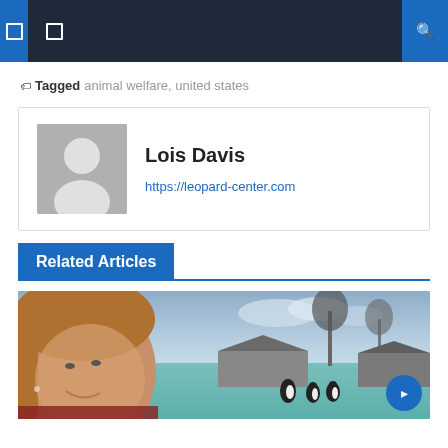Navigation bar with menu and search icons
🏷 Tagged animal welfare, united states
Lois Davis
https://leopard-center.com
Related Articles
[Figure (photo): Woman taking a selfie at a zoo or wildlife park, with penguins and a pool visible in the background, trees and cloudy sky behind]